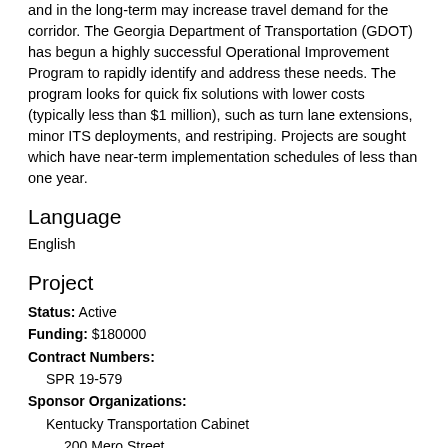and in the long-term may increase travel demand for the corridor. The Georgia Department of Transportation (GDOT) has begun a highly successful Operational Improvement Program to rapidly identify and address these needs. The program looks for quick fix solutions with lower costs (typically less than $1 million), such as turn lane extensions, minor ITS deployments, and restriping. Projects are sought which have near-term implementation schedules of less than one year.
Language
English
Project
Status: Active
Funding: $180000
Contract Numbers:
  SPR 19-579
Sponsor Organizations:
  Kentucky Transportation Cabinet
    200 Mero Street
    Frankfort, KY  United States  40622